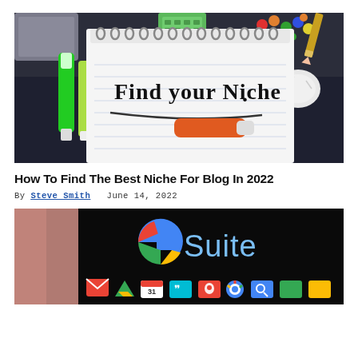[Figure (photo): Notebook with 'Find your Niche.' written on it, surrounded by colorful markers, pins, and office supplies on a dark desk]
How To Find The Best Niche For Blog In 2022
By Steve Smith   June 14, 2022
[Figure (photo): G Suite logo on a dark screen, with Google app icons visible below, person partially visible on the left]